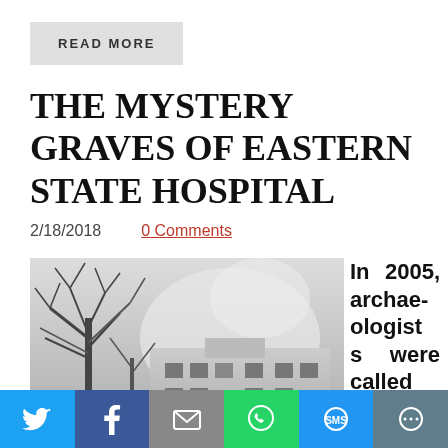READ MORE
THE MYSTERY GRAVES OF EASTERN STATE HOSPITAL
2/18/2018    0 Comments
[Figure (photo): Black and white photograph of Eastern State Hospital exterior, showing bare trees in winter against a large institutional building.]
In 2005, archaeologists were called
Twitter share | Facebook share | Email share | WhatsApp share | SMS share | More share